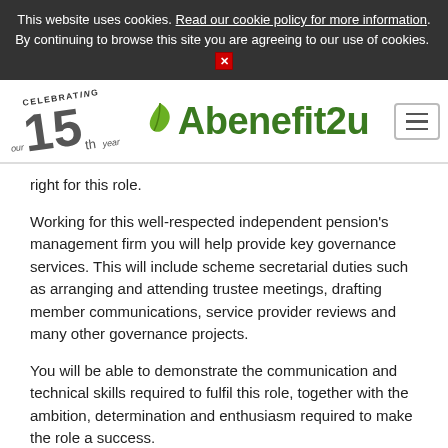This website uses cookies. Read our cookie policy for more information. By continuing to browse this site you are agreeing to our use of cookies.
[Figure (logo): Abenefit2u logo with 'Celebrating our 15th year' text and green leaf icon, plus hamburger menu button]
right for this role.
Working for this well-respected independent pension's management firm you will help provide key governance services. This will include scheme secretarial duties such as arranging and attending trustee meetings, drafting member communications, service provider reviews and many other governance projects.
You will be able to demonstrate the communication and technical skills required to fulfil this role, together with the ambition, determination and enthusiasm required to make the role a success.
Ideally you will be making good progress with professional qualifications and possess previous experience of dealing with advisers, industry regulators and other third party suppliers.